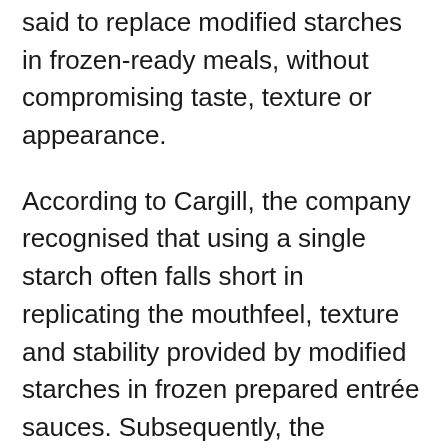said to replace modified starches in frozen-ready meals, without compromising taste, texture or appearance.
According to Cargill, the company recognised that using a single starch often falls short in replicating the mouthfeel, texture and stability provided by modified starches in frozen prepared entrée sauces. Subsequently, the company's food scientists instead created a tailored system of starches, which deliver comparable performance.
The result, patent-pending SimPure 99560, provides optimal freeze-heat stability in mild processing conditions, preventing water separation and producing